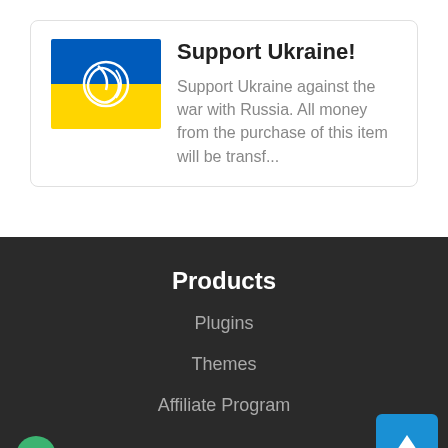[Figure (other): Card with Ukrainian flag image (blue and yellow with white swirl logo) and text content for Support Ukraine campaign]
Support Ukraine!
Support Ukraine against the war with Russia. All money from the purchase of this item will be transf...
Products
Plugins
Themes
Affiliate Program
Support